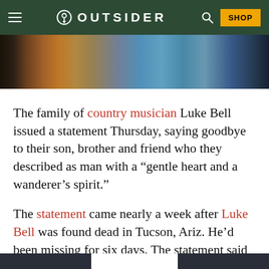OUTSIDER
[Figure (photo): Partial photo of a person playing guitar, cropped at the top of the article]
The family of country musician Luke Bell issued a statement Thursday, saying goodbye to their son, brother and friend who they described as man with a “gentle heart and a wanderer’s spirit.”
The statement came nearly a week after Luke Bell was found dead in Tucson, Ariz. He’d been missing for six days. The statement said Bell